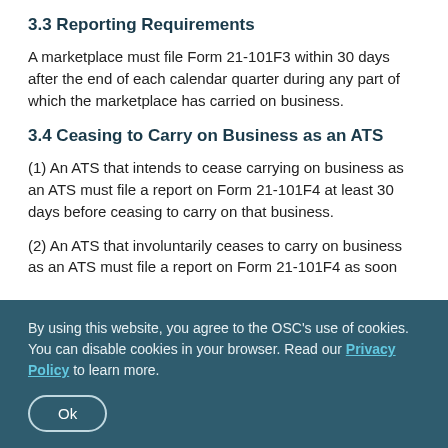3.3 Reporting Requirements
A marketplace must file Form 21-101F3 within 30 days after the end of each calendar quarter during any part of which the marketplace has carried on business.
3.4 Ceasing to Carry on Business as an ATS
(1) An ATS that intends to cease carrying on business as an ATS must file a report on Form 21-101F4 at least 30 days before ceasing to carry on that business.
(2) An ATS that involuntarily ceases to carry on business as an ATS must file a report on Form 21-101F4 as soon
By using this website, you agree to the OSC's use of cookies. You can disable cookies in your browser. Read our Privacy Policy to learn more.
Ok